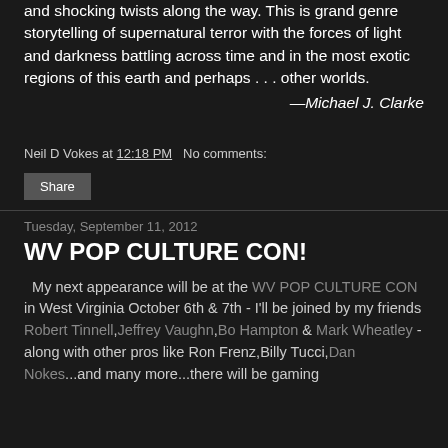and shocking twists along the way. This is grand genre storytelling of supernatural terror with the forces of light and darkness battling across time and in the most exotic regions of this earth and perhaps . . . other worlds.
—Michael J. Clarke
Neil D Vokes at 12:18 PM   No comments:
Share
Tuesday, September 11, 2012
WV POP CULTURE CON!
My next appearance will be at the WV POP CULTURE CON in West Virginia October 6th & 7th - I'll be joined by my friends Robert Tinnell,Jeffrey Vaughn,Bo Hampton & Mark Wheatley - along with other pros like Ron Frenz,Billy Tucci,Dan Nokes...and many more...there will be gaming